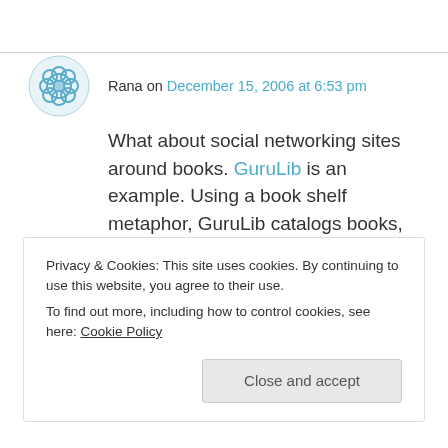Rana on December 15, 2006 at 6:53 pm
What about social networking sites around books. GuruLib is an example. Using a book shelf metaphor, GuruLib catalogs books, movies, music, games and software online. In addition, it will help find others who share similar interest in books, movies etc.
Privacy & Cookies: This site uses cookies. By continuing to use this website, you agree to their use. To find out more, including how to control cookies, see here: Cookie Policy
what I love about it is the community building. It